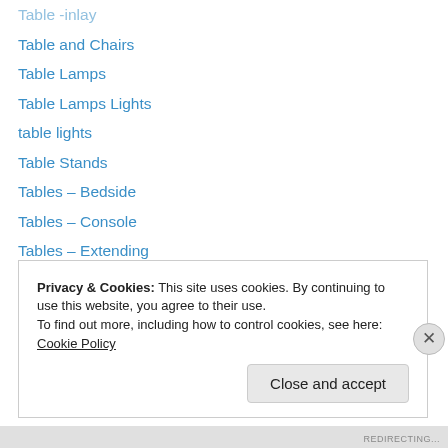Table -inlay
Table and Chairs
Table Lamps
Table Lamps Lights
table lights
Table Stands
Tables – Bedside
Tables – Console
Tables – Extending
Tables – Farmhouse
Tables – Italian
Tables – Kitchen
Tables – Mahogany
Tables – Modernist
Privacy & Cookies: This site uses cookies. By continuing to use this website, you agree to their use.
To find out more, including how to control cookies, see here: Cookie Policy
Close and accept
REDIRECTING...